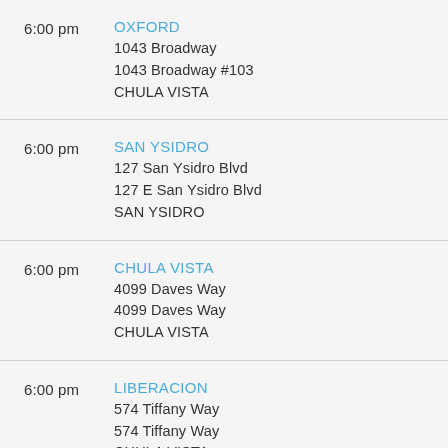6:00 pm | OXFORD
1043 Broadway
1043 Broadway #103
CHULA VISTA
6:00 pm | SAN YSIDRO
127 San Ysidro Blvd
127 E San Ysidro Blvd
SAN YSIDRO
6:00 pm | CHULA VISTA
4099 Daves Way
4099 Daves Way
CHULA VISTA
6:00 pm | LIBERACION
574 Tiffany Way
574 Tiffany Way
CHULA VISTA